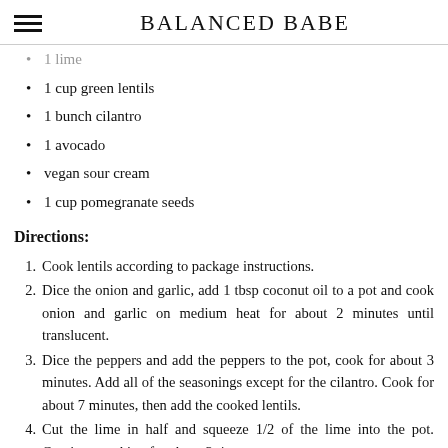BALANCED BABE
1 lime
1 cup green lentils
1 bunch cilantro
1 avocado
vegan sour cream
1 cup pomegranate seeds
Directions:
Cook lentils according to package instructions.
Dice the onion and garlic, add 1 tbsp coconut oil to a pot and cook onion and garlic on medium heat for about 2 minutes until translucent.
Dice the peppers and add the peppers to the pot, cook for about 3 minutes. Add all of the seasonings except for the cilantro. Cook for about 7 minutes, then add the cooked lentils.
Cut the lime in half and squeeze 1/2 of the lime into the pot. Continue cooking for about 3-4